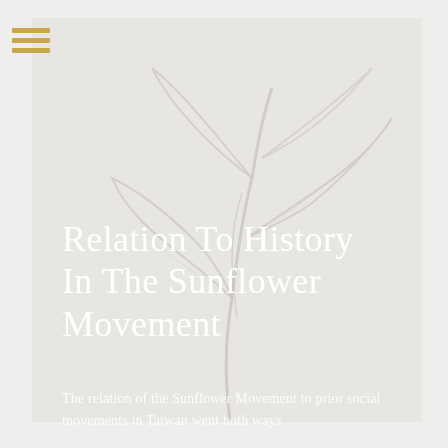[Figure (illustration): A faded, light gray illustration of sunflower leaves and stems on a light gray/white background, serving as a decorative backdrop for the title overlay.]
Relation To History In The Sunflower Movement
The relation of the Sunflower Movement to prior social movements in Taiwan went both ways